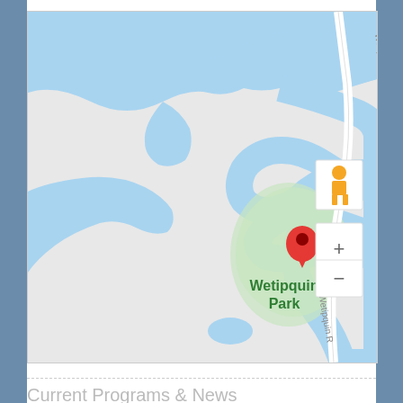[Figure (map): Google Maps screenshot showing Wetipquin Park location with a red location pin marker. The map shows water bodies (rivers/creeks) in blue, a green park area labeled 'Wetipquin Park', and Wetipquin Rd running through the area. Map controls include a Street View pegman icon and zoom in/out buttons.]
Current Programs & News